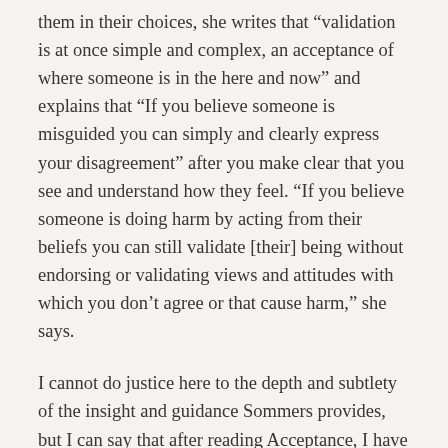them in their choices, she writes that "validation is at once simple and complex, an acceptance of where someone is in the here and now" and explains that "If you believe someone is misguided you can simply and clearly express your disagreement" after you make clear that you see and understand how they feel. "If you believe someone is doing harm by acting from their beliefs you can still validate [their] being without endorsing or validating views and attitudes with which you don't agree or that cause harm," she says.
I cannot do justice here to the depth and subtlety of the insight and guidance Sommers provides, but I can say that after reading Acceptance, I have become more aware of how many times each day I notice that have many chances to validate, ignore, or invalidate the experiences of others—including people who do repairs in my building, cashiers at the grocery store